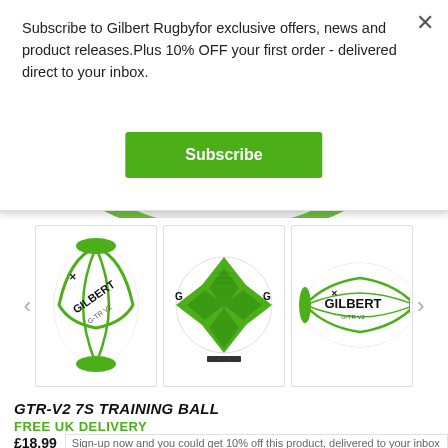Subscribe to Gilbert Rugbyfor exclusive offers, news and product releases.Plus 10% OFF your first order - delivered direct to your inbox.
Subscribe
[Figure (photo): Three Gilbert G-TR V2 rugby ball product thumbnails shown from different angles: side view with green panels, top-down view showing X-shaped green grip panels, and front view on white background.]
GTR-V2 7S TRAINING BALL
FREE UK DELIVERY
£18.99
Sign-up now and you could get 10% off this product, delivered to your inbox